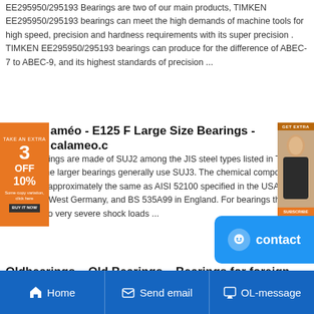EE295950/295193 Bearings are two of our main products, TIMKEN EE295950/295193 bearings can meet the high demands of machine tools for high speed, precision and hardness requirements with its super precision . TIMKEN EE295950/295193 bearings can produce for the difference of ABEC-7 to ABEC-9, and its highest standards of precision ...
[Figure (photo): Advertisement banner on left side showing orange/red background with '3 OFF 10%' text]
[Figure (photo): Advertisement banner on right side showing person photo with 'GET EXTRA' text]
améo - E125 F Large Size Bearings - calameo.c
t NSK bearings are made of SUJ2 among the JIS steel types listed in Table 5.1 while the larger bearings generally use SUJ3. The chemical composition of SUJ2 is approximately the same as AISI 52100 specified in the USA, DIN 100 Cr6 in West Germany, and BS 535A99 in England. For bearings that are subjected to very severe shock loads ...
Oldbearings – Old Bearings – Bearings for foreign vintage ca
Oldbearings Search Brand: - All Brand - A&S ADR ARB ASK AUTOKIT BCA BLACWEL BOWER CBF CFC CFC/FAG COOPER CS DELCO DELCO/NDH DKF DWB ELGES EST F&S FAFNIR FAG FAG / DURKOPP FAG/SRO FBC FIH FJG FLT GAMET GF GMN GNUTTI GPZ HOFFMANN HS HYATT IKO IMI INA KAYDON KOYO LINK BELT MACCHI MCGILL MOTORCRAFT MRC NACHI NADELLA NAZ NAZ.
[Figure (other): Contact button - blue rounded rectangle with smiley face icon and 'contact' text]
Home   Send email   OL-message